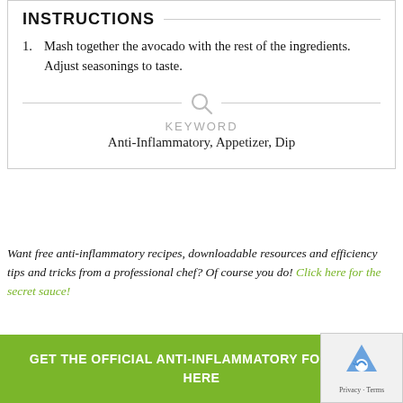INSTRUCTIONS
1. Mash together the avocado with the rest of the ingredients. Adjust seasonings to taste.
[Figure (other): Search/magnifying glass icon with horizontal divider lines on each side]
KEYWORD
Anti-Inflammatory, Appetizer, Dip
Want free anti-inflammatory recipes, downloadable resources and efficiency tips and tricks from a professional chef?  Of course you do!  Click here for the secret sauce!
GET THE OFFICIAL ANTI-INFLAMMATORY FOODS LIST HERE